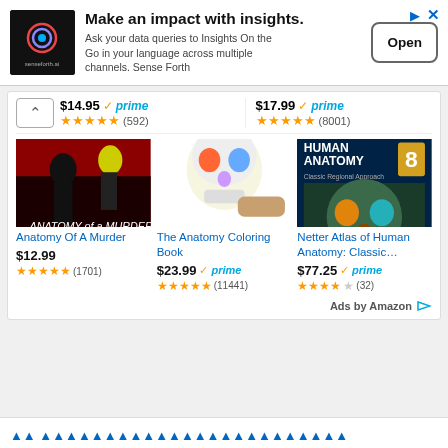[Figure (screenshot): senseforth.ai advertisement banner with logo, headline 'Make an impact with insights.', subtext about data queries, and Open button]
Make an impact with insights.
Ask your data queries to Insights On the Go in your language across multiple channels. Sense Forth
Open
$14.95 prime (592) | $17.99 prime (8001)
[Figure (photo): Book cover: Anatomy Of A Murder]
[Figure (photo): Book cover: The Anatomy Coloring Book]
[Figure (photo): Book cover: Netter Atlas of Human Anatomy]
Anatomy Of A Murder
$12.99 ★★★★★ (1701)
The Anatomy Coloring Book
$23.99 prime ★★★★★ (11441)
Netter Atlas of Human Anatomy: Classic...
$77.25 prime ★★★★☆ (32)
Ads by Amazon